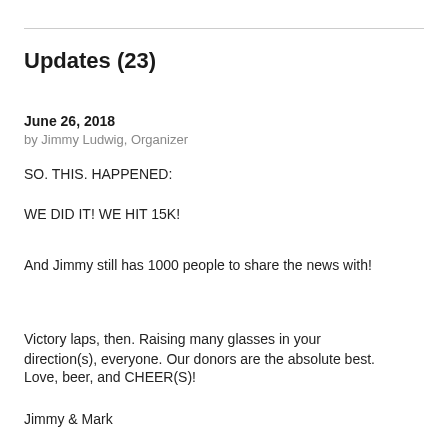Updates (23)
June 26, 2018
by Jimmy Ludwig, Organizer
SO. THIS. HAPPENED:
WE DID IT! WE HIT 15K!
And Jimmy still has 1000 people to share the news with!
Victory laps, then. Raising many glasses in your direction(s), everyone. Our donors are the absolute best.
Love, beer, and CHEER(S)!
Jimmy & Mark